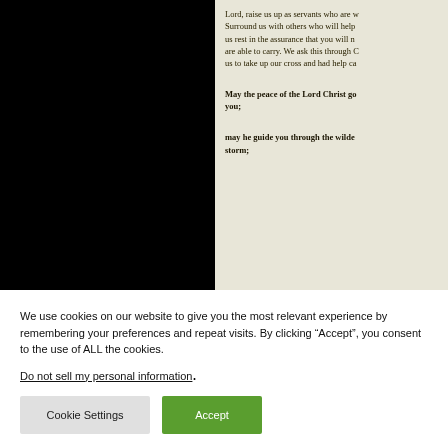[Figure (photo): Left half: black panel. Right half: aged book page with religious text in dark ink on cream/beige background.]
Lord, raise us up as servants who are w... Surround us with others who will help... us rest in the assurance that you will n... are able to carry. We ask this through C... us to take up our cross and had help ca...
May the peace of the Lord Christ go... you;
may he guide you through the wilde... storm;
We use cookies on our website to give you the most relevant experience by remembering your preferences and repeat visits. By clicking “Accept”, you consent to the use of ALL the cookies.
Do not sell my personal information.